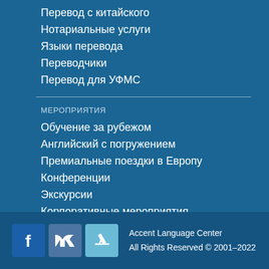Перевод с китайского
Нотариальные услуги
Языки перевода
Переводчики
Перевод для УФМС
МЕРОПРИЯТИЯ
Обучение за рубежом
Английский с погружением
Премиальные поездки в Европу
Конференции
Экскурсии
Корпоративные мероприятия
Портфолио
Нам 15 лет!
Accent Language Center
All Rights Reserved © 2001–2022